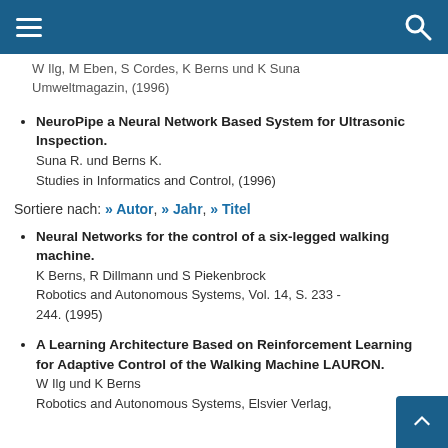W Ilg, M Eben, S Cordes, K Berns und K Suna
Umweltmagazin, (1996)
NeuroPipe a Neural Network Based System for Ultrasonic Inspection.
Suna R. und Berns K.
Studies in Informatics and Control, (1996)
Sortiere nach: » Autor, » Jahr, » Titel
Neural Networks for the control of a six-legged walking machine.
K Berns, R Dillmann und S Piekenbrock
Robotics and Autonomous Systems, Vol. 14, S. 233 - 244. (1995)
A Learning Architecture Based on Reinforcement Learning for Adaptive Control of the Walking Machine LAURON.
W Ilg und K Berns
Robotics and Autonomous Systems, Elsvier Verlag,